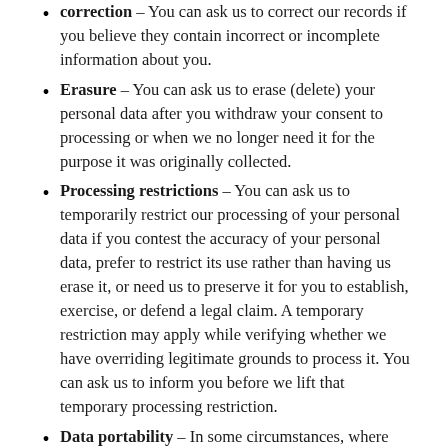Correction – You can ask us to correct our records if you believe they contain incorrect or incomplete information about you.
Erasure – You can ask us to erase (delete) your personal data after you withdraw your consent to processing or when we no longer need it for the purpose it was originally collected.
Processing restrictions – You can ask us to temporarily restrict our processing of your personal data if you contest the accuracy of your personal data, prefer to restrict its use rather than having us erase it, or need us to preserve it for you to establish, exercise, or defend a legal claim. A temporary restriction may apply while verifying whether we have overriding legitimate grounds to process it. You can ask us to inform you before we lift that temporary processing restriction.
Data portability – In some circumstances, where you have provided personal data to us, you can ask us to